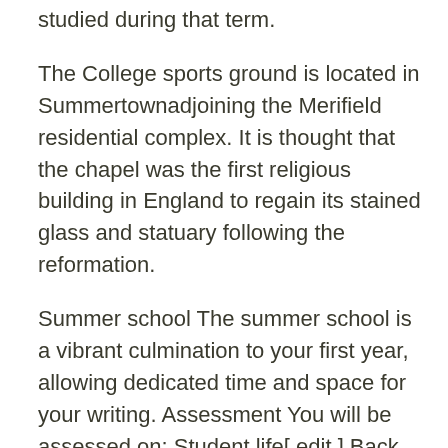studied during that term.
The College sports ground is located in Summertownadjoining the Merifield residential complex. It is thought that the chapel was the first religious building in England to regain its stained glass and statuary following the reformation.
Summer school The summer school is a vibrant culmination to your first year, allowing dedicated time and space for your writing. Assessment You will be assessed on: Student life[ edit ] Back quad Undergraduate students at Wadham are guaranteed accommodation within college for the first and final years of their course.
Among the many deficiencies attending a university education there was, however, one good thing about it, and that was the education which the undergraduates